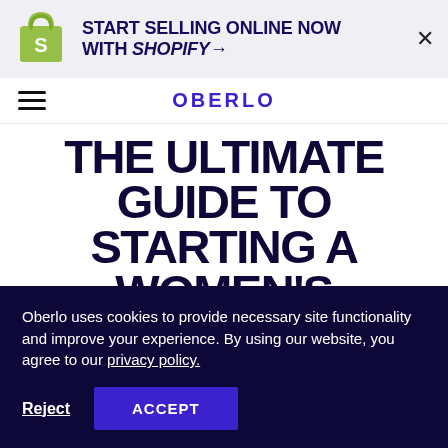[Figure (logo): Shopify bag logo (green shopping bag with white S)]
START SELLING ONLINE NOW WITH SHOPIFY →
OBERLO
THE ULTIMATE GUIDE TO STARTING A WOMEN'S CLOTHING BRAND
Oberlo uses cookies to provide necessary site functionality and improve your experience. By using our website, you agree to our privacy policy.
Reject   ACCEPT